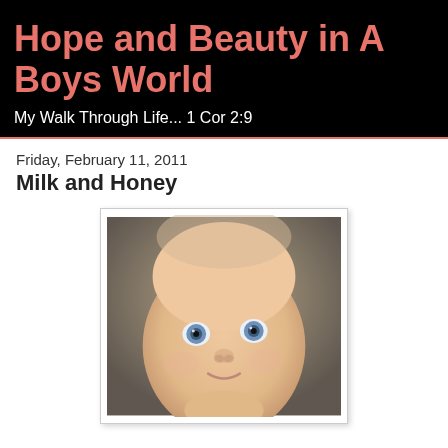Hope and Beauty in A Boys World
My Walk Through Life... 1 Cor 2:9
Friday, February 11, 2011
Milk and Honey
[Figure (photo): Close-up portrait of a baby with blue eyes and light skin, looking upward toward the camera against a blurred dark background.]